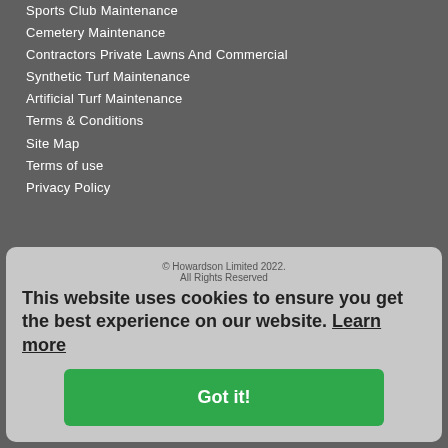Sports Club Maintenance
Cemetery Maintenance
Contractors Private Lawns And Commercial
Synthetic Turf Maintenance
Artificial Turf Maintenance
Terms & Conditions
Site Map
Terms of use
Privacy Policy
[Figure (infographic): Social media icons: Facebook, Twitter, YouTube]
© Howardson Limited 2022. All Rights Reserved
This website uses cookies to ensure you get the best experience on our website. Learn more
Got it!